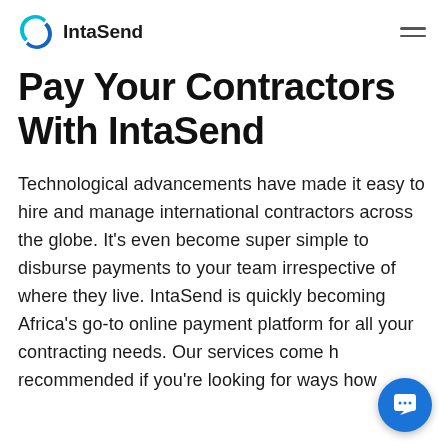IntaSend
Pay Your Contractors With IntaSend
Technological advancements have made it easy to hire and manage international contractors across the globe. It's even become super simple to disburse payments to your team irrespective of where they live. IntaSend is quickly becoming Africa's go-to online payment platform for all your contracting needs. Our services come highly recommended if you're looking for ways how